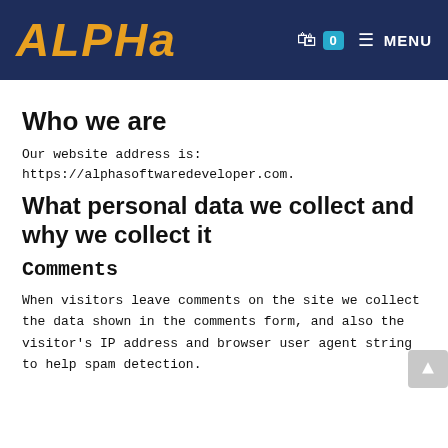ALPHA — MENU (cart: 0)
Who we are
Our website address is:
https://alphasoftwaredeveloper.com.
What personal data we collect and why we collect it
Comments
When visitors leave comments on the site we collect the data shown in the comments form, and also the visitor's IP address and browser user agent string to help spam detection.